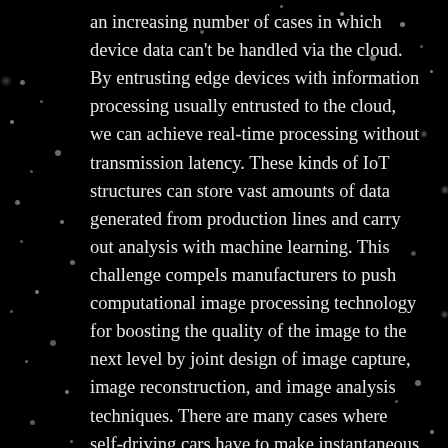an increasing number of cases in which device data can't be handled via the cloud. By entrusting edge devices with information processing usually entrusted to the cloud, we can achieve real-time processing without transmission latency. These kinds of IoT structures can store vast amounts of data generated from production lines and carry out analysis with machine learning. This challenge compels manufacturers to push computational image processing technology for boosting the quality of the image to the next level by joint design of image capture, image reconstruction, and image analysis techniques. There are many cases where self-driving cars have to make instantaneous assessments of a situation, and this requires real-time data processing. } Our community of 1,000,000+ qualified contributors is located across the globe and available 24/7,